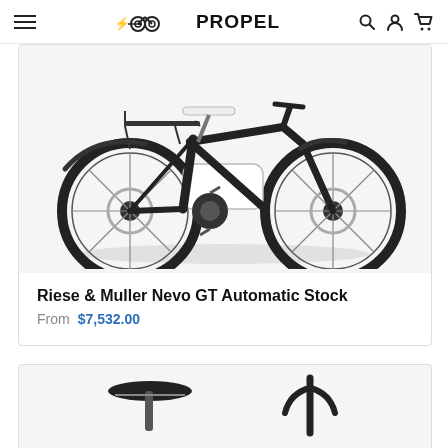≡  🔌🚲 PROPEL  🔍 👤 🛒
[Figure (photo): White Riese & Muller Nevo GT Automatic electric city bike with rear rack, fenders, disc brakes, and integrated battery, shown on white background]
Riese & Muller Nevo GT Automatic Stock
From  $7,532.00
[Figure (photo): Partial view of another e-bike product showing saddle and handlebar stem components on white background]